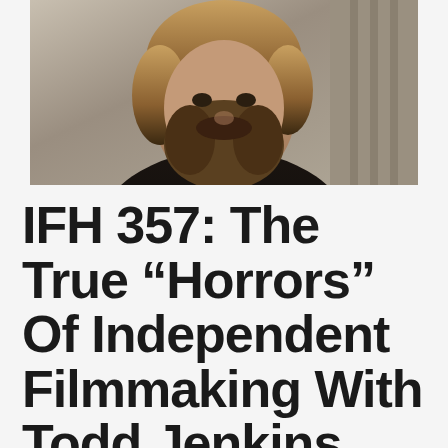[Figure (photo): Portrait photo of a bearded man with curly hair wearing a black shirt, photographed against a light grey concrete background.]
IFH 357: The True “Horrors” Of Independent Filmmaking With Todd Jenkins